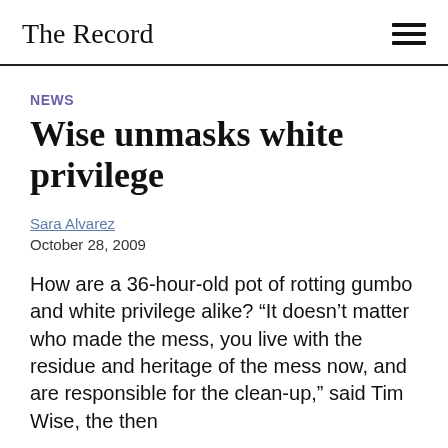The Record
NEWS
Wise unmasks white privilege
Sara Alvarez
October 28, 2009
How are a 36-hour-old pot of rotting gumbo and white privilege alike? “It doesn’t matter who made the mess, you live with the residue and heritage of the mess now, and are responsible for the clean-up,” said Tim Wise, the then...